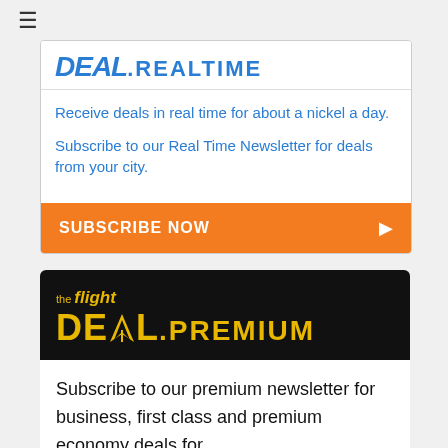[Figure (logo): Hamburger menu icon (three horizontal lines)]
[Figure (logo): The Flight Deal REALTIME logo in blue with divider line]
Receive deals in real time for about a nickel a day.
Subscribe to our Real Time Newsletter for deals from your city.
SUBSCRIBE NOW ▶
[Figure (logo): The Flight Deal PREMIUM logo — black background with yellow text]
Subscribe to our premium newsletter for business, first class and premium economy deals for